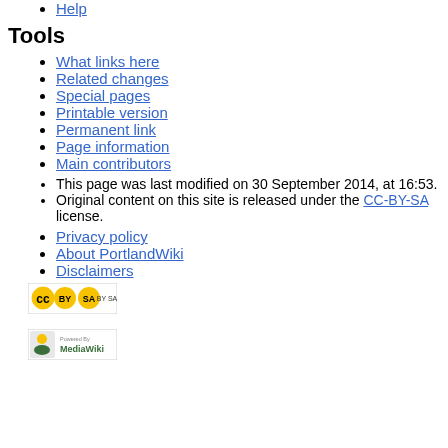Help
Tools
What links here
Related changes
Special pages
Printable version
Permanent link
Page information
Main contributors
This page was last modified on 30 September 2014, at 16:53.
Original content on this site is released under the CC-BY-SA license.
Privacy policy
About PortlandWiki
Disclaimers
[Figure (logo): Creative Commons CC-BY-SA badge]
[Figure (logo): Powered by MediaWiki badge]